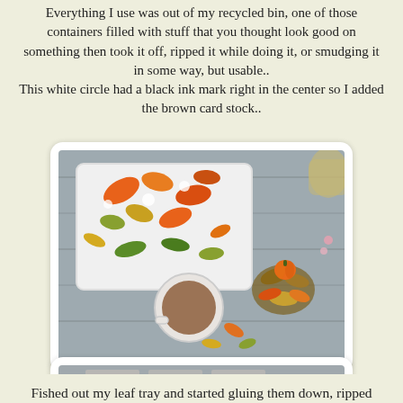Everything I use was out of my recycled bin, one of those containers filled with stuff that you thought look good on something then took it off, ripped it while doing it, or smudging it in some way, but usable.. This white circle had a black ink mark right in the center so I added the brown card stock..
[Figure (photo): A flat-lay photo on a wooden gray surface showing a white rectangular tray covered with colorful autumn leaves (orange, green, yellow), a round white cup/bowl with brown liquid, a small orange pumpkin, and scattered leaves and floral embellishments.]
Fished out my leaf tray and started gluing them down, ripped leaves that were still usable and could be hidden with another, and so the wreath was built..
[Figure (photo): Partial view of another photo at the bottom of the page, appears to show a similar craft/wreath project on a wooden surface.]